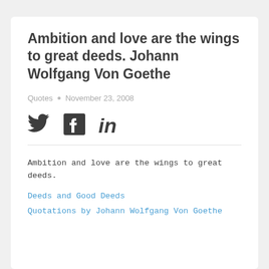Ambition and love are the wings to great deeds. Johann Wolfgang Von Goethe
Quotes • November 23, 2008
[Figure (infographic): Social media share icons: Twitter bird, Facebook F, LinkedIn in]
Ambition and love are the wings to great deeds.
Deeds and Good Deeds
Quotations by Johann Wolfgang Von Goethe